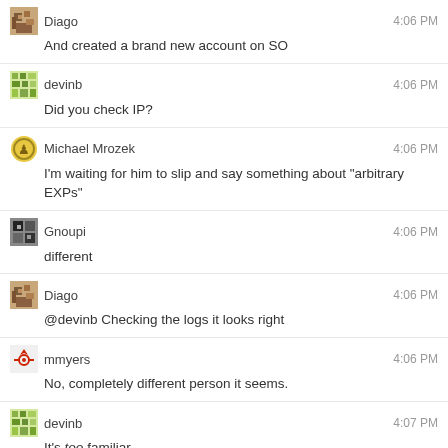Diago 4:06 PM
And created a brand new account on SO
devinb 4:06 PM
Did you check IP?
Michael Mrozek 4:06 PM
I'm waiting for him to slip and say something about "arbitrary EXPs"
Gnoupi 4:06 PM
different
Diago 4:06 PM
@devinb Checking the logs it looks right
mmyers 4:06 PM
No, completely different person it seems.
devinb 4:07 PM
It's too familiar.
Diago 4:07 PM
@mmyers Agreed, might just need a watchful eye
mmyers 4:07 PM
Not sure psychic is a troll, people :)